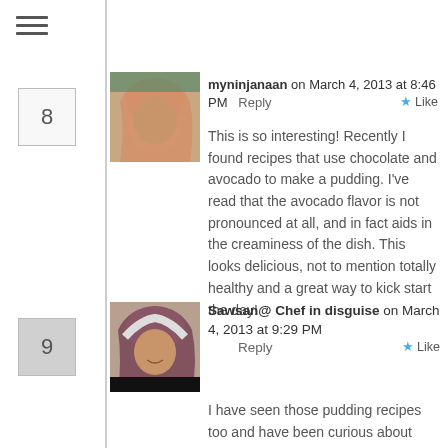[Figure (other): Hamburger menu icon (three horizontal lines)]
[Figure (photo): Avatar photo of myninjanaan - woman wearing hijab]
myninjanaan on March 4, 2013 at 8:46 PM    Reply    ★ Like
This is so interesting! Recently I found recipes that use chocolate and avocado to make a pudding. I've read that the avocado flavor is not pronounced at all, and in fact aids in the creaminess of the dish. This looks delicious, not to mention totally healthy and a great way to kick start the day!
[Figure (photo): Avatar photo of Sawsan@ Chef in disguise - woman wearing hijab]
Sawsan@ Chef in disguise on March 4, 2013 at 9:29 PM    Reply    ★ Like
I have seen those pudding recipes too and have been curious about